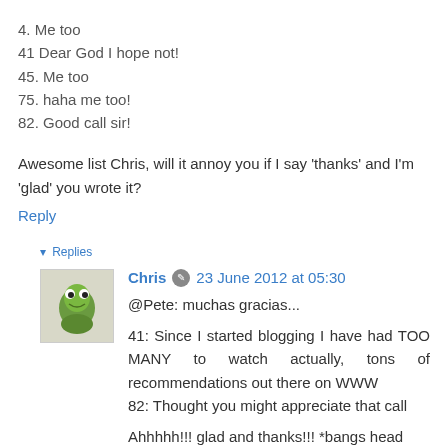4. Me too
41 Dear God I hope not!
45. Me too
75. haha me too!
82. Good call sir!
Awesome list Chris, will it annoy you if I say 'thanks' and I'm 'glad' you wrote it?
Reply
▾ Replies
Chris  23 June 2012 at 05:30
@Pete: muchas gracias...

41: Since I started blogging I have had TOO MANY to watch actually, tons of recommendations out there on WWW
82: Thought you might appreciate that call

Ahhhhh!!! glad and thanks!!! *bangs head